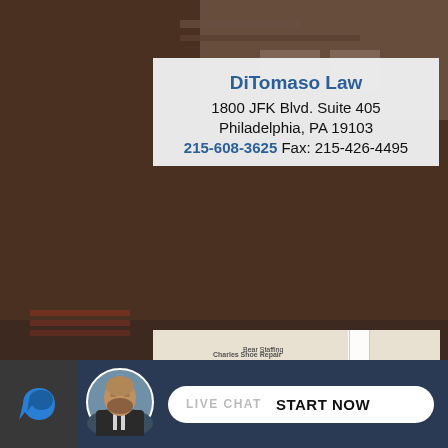[Figure (photo): Dark brownish building background photo with overlay]
DiTomaso Law
1800 JFK Blvd. Suite 405
Philadelphia, PA 19103
215-608-3625 Fax: 215-426-4495
[Figure (map): Google Maps screenshot showing DiTomaso Law location at 1800 JFK Blvd Philadelphia with red location pin. Nearby labels include Bear Staffing, Pearson national Center, 18th St, Fidelity Invest, Commerce St, Charles Shoe Repair.]
[Figure (infographic): Live chat bar at bottom with logo, avatar photo of bearded man, and START NOW button]